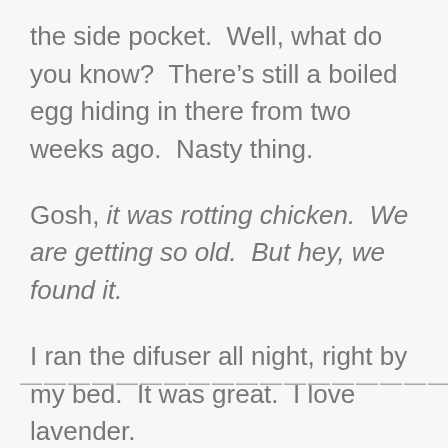the side pocket.  Well, what do you know?  There’s still a boiled egg hiding in there from two weeks ago.  Nasty thing.
Gosh, it was rotting chicken.  We are getting so old.  But hey, we found it.
I ran the difuser all night, right by my bed.  It was great.  I love lavender.
————————————————————————————